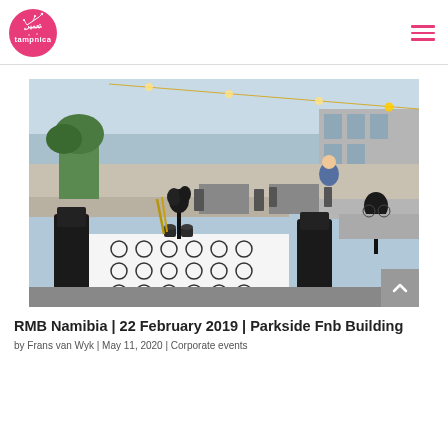Tampnica logo and navigation
[Figure (photo): Outdoor event setup on a rooftop or terrace with black chairs, tables with black-and-white patterned tablecloths, black floral centerpieces, and string lights in the background.]
RMB Namibia | 22 February 2019 | Parkside Fnb Building
by Frans van Wyk | May 11, 2020 | Corporate events